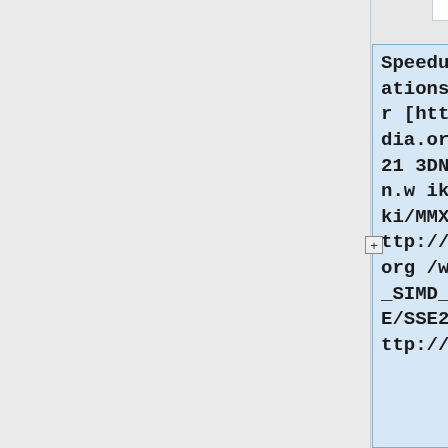Speedups via optimizations (like SIMD for [http://en.wikipedia.org/wiki/3DNow%21 3DNow], [http://en.wikipedia.org/wiki/MMX MMX/MMX2], [http://en.wikipedia.org/wiki/Streaming_SIMD_Extensions SSE/SSE2/SSE3] and [http://en.w